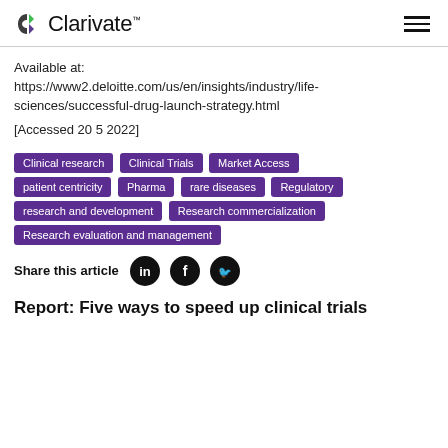Clarivate
Available at:
https://www2.deloitte.com/us/en/insights/industry/life-sciences/successful-drug-launch-strategy.html
[Accessed 20 5 2022]
Clinical research
Clinical Trials
Market Access
patient centricity
Pharma
rare diseases
Regulatory
research and development
Research commercialization
Research evaluation and management
Share this article
Report: Five ways to speed up clinical trials